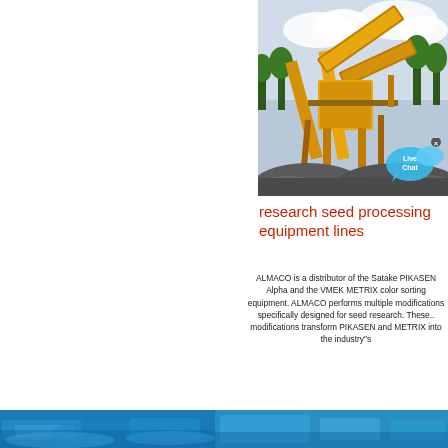[Figure (photo): Industrial yellow mining/crushing machinery with conveyor belts against a cloudy sky, with gravel/aggregate piles in foreground. Live Chat bubble overlay in bottom right corner.]
research seed processing equipment lines
ALMACO is a distributor of the Satake PIKASEN Alpha and the VMEK METRIX color sorting equipment. ALMACO performs multiple modifications specifically designed for seed research. These.. modifications transform PIKASEN and METRIX into the industry"s
[Figure (photo): Blue-toned industrial/agricultural equipment scene shown in bottom strip of page.]